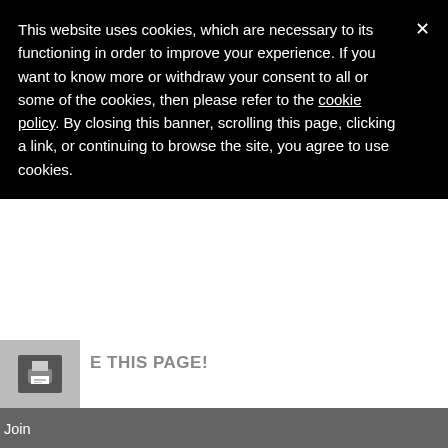This website uses cookies, which are necessary to its functioning in order to improve your experience. If you want to know more or withdraw your consent to all or some of the cookies, then please refer to the cookie policy. By closing this banner, scrolling this page, clicking a link, or continuing to browse the site, you agree to use cookies.
E THIS PAGE!
Join
Career Center
Online Store
Privacy Policy
Notices and Disclaimers
Code of Ethics